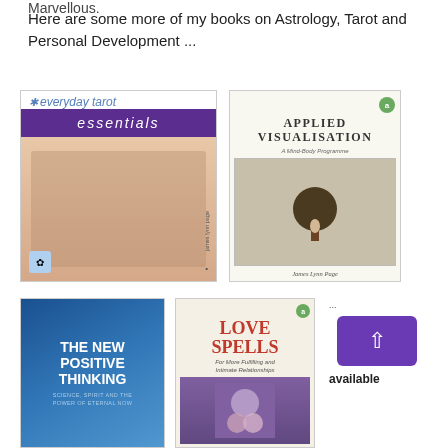Marvellous.
Here are some more of my books on Astrology, Tarot and Personal Development ...
[Figure (photo): Book cover: Everyday Tarot Essentials by James Lynn Page - purple banner with italic white text 'essentials', cursive title above]
[Figure (photo): Book cover: Applied Visualisation - A Mind-Body Programme by James Lynn Page, illustration of a tree figure]
[Figure (photo): Book cover: The New Positive Thinking - Science, Spirit and the Power of Eternal Now, blue gradient cover]
[Figure (photo): Book cover: Love Spells - For More Fulfilling and Intimate Relationships, cream cover with red title]
... available